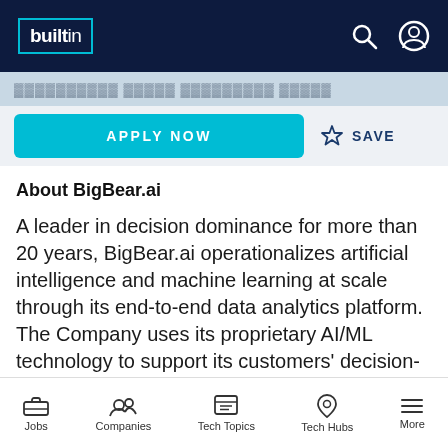builtin
APPLY NOW   ☆ SAVE
About BigBear.ai
A leader in decision dominance for more than 20 years, BigBear.ai operationalizes artificial intelligence and machine learning at scale through its end-to-end data analytics platform. The Company uses its proprietary AI/ML technology to support its customers' decision-making processes and deliver practical solutions that work in complex, realistic and imperfect data
Jobs   Companies   Tech Topics   Tech Hubs   More